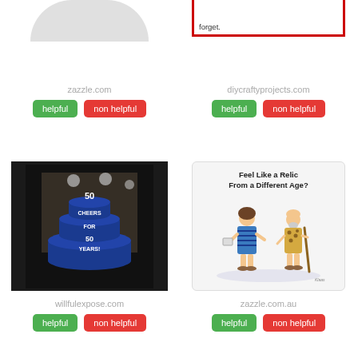[Figure (photo): Partial view of a circular/oval object (top of an image cut off at top of page), light gray background]
[Figure (photo): A greeting card with red border, text visible at bottom reading 'forget.']
zazzle.com
diycraftyprojects.com
helpful
non helpful
helpful
non helpful
[Figure (photo): A birthday cake made of beer cans stacked in tiers, with '50 Cheers for 50 Years' written on it, dark background]
[Figure (illustration): A greeting card showing two cartoon caveman-style characters (Flintstones-like), text reads 'Feel Like a Relic From a Different Age?']
willfulexpose.com
zazzle.com.au
helpful
non helpful
helpful
non helpful